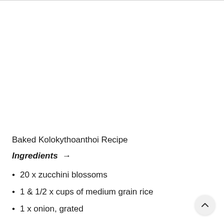Baked Kolokythoanthoi Recipe
Ingredients →
20 x zucchini blossoms
1 & 1/2 x cups of medium grain rice
1 x onion, grated